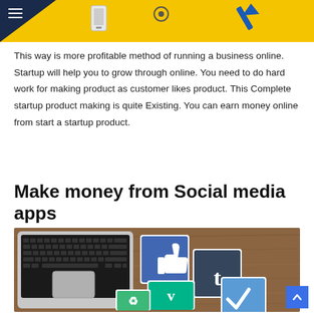[Header with yellow background and illustrated icons]
This way is more profitable method of running a business online. Startup will help you to grow through online. You need to do hard work for making product as customer likes product. This Complete startup product making is quite Existing. You can earn money online from start a startup product.
Make money from Social media apps
[Figure (photo): Laptop with social media app icons (Facebook like, Tumblr, a checkmark app, Vine, and a green recycling-like icon) placed on a wooden table surface.]